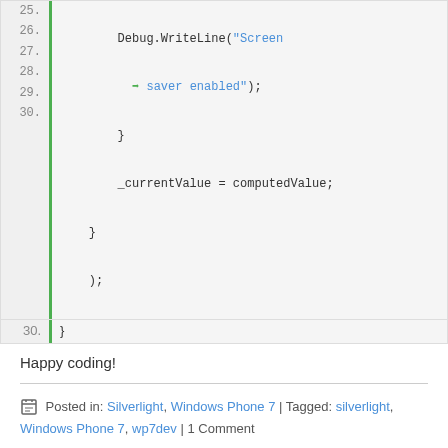[Figure (screenshot): Code block snippet showing lines 25-30 of C# code with green left border and line numbers. Lines include Debug.WriteLine with 'Screen saver enabled' string, closing braces, _currentValue = computedValue assignment, and closing parenthesis and brace.]
Happy coding!
Posted in: Silverlight, Windows Phone 7 | Tagged: silverlight, Windows Phone 7, wp7dev | 1 Comment
Search ...
ARCHIVES
August 2012
May 2012
March 2012